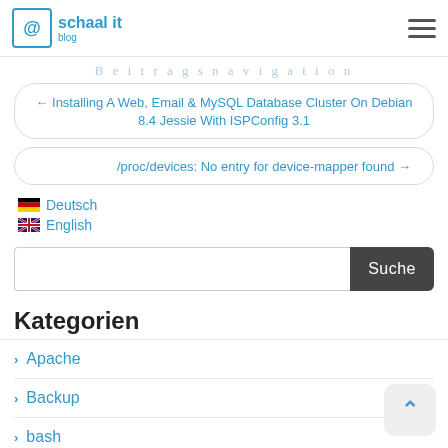schaal it blog
Beitragsnavigation
← Installing A Web, Email & MySQL Database Cluster On Debian 8.4 Jessie With ISPConfig 3.1
/proc/devices: No entry for device-mapper found →
Deutsch
English
Kategorien
Apache
Backup
bash
Debian
Firewall